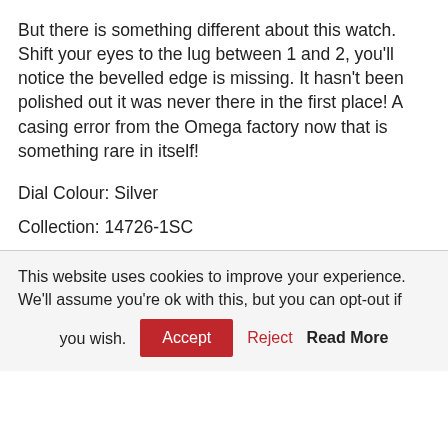But there is something different about this watch. Shift your eyes to the lug between 1 and 2, you'll notice the bevelled edge is missing. It hasn't been polished out it was never there in the first place! A casing error from the Omega factory now that is something rare in itself!
Dial Colour: Silver
Collection: 14726-1SC
This website uses cookies to improve your experience. We'll assume you're ok with this, but you can opt-out if you wish. Accept Reject Read More